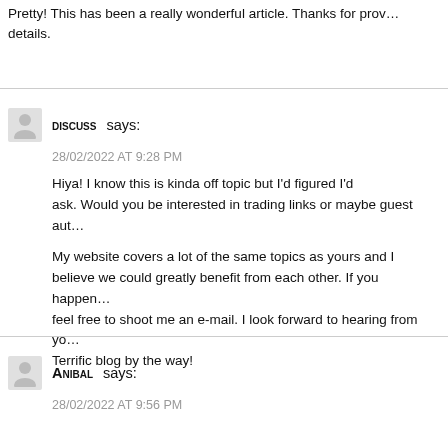Pretty! This has been a really wonderful article. Thanks for providing these details.
discuss says:
28/02/2022 AT 9:28 PM
Hiya! I know this is kinda off topic but I'd figured I'd ask. Would you be interested in trading links or maybe guest aut…

My website covers a lot of the same topics as yours and I believe we could greatly benefit from each other. If you happen… feel free to shoot me an e-mail. I look forward to hearing from yo… Terrific blog by the way!
Anibal says:
28/02/2022 AT 9:56 PM